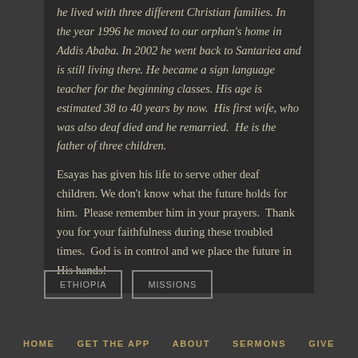he lived with three different Christian families. In the year 1996 he moved to our orphan's home in Addis Ababa. In 2002 he went back to Santariea and is still living there. He became a sign language teacher for the beginning classes. His age is estimated 38 to 40 years by now.  His first wife, who was also deaf died and he remarried.  He is the father of three children.
Esayas has given his life to serve other deaf children. We don't know what the future holds for him.  Please remember him in your prayers.  Thank you for your faithfulness during these troubled times.  God is in control and we place the future in His hands!
ETHIOPIA
MISSIONS
HOME   GET THE APP   ABOUT   SERMONS   GIVE